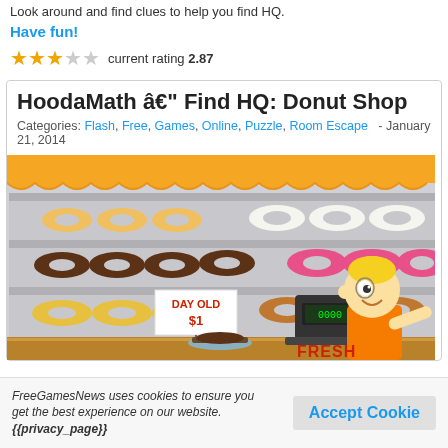Look around and find clues to help you find HQ.
Have fun!
current rating 2.87
HoodaMath â€" Find HQ: Donut Shop
Categories: Flash, Free, Games, Online, Puzzle, Room Escape - January 21, 2014
[Figure (screenshot): Screenshot of HoodaMath Find HQ Donut Shop game showing a cartoon donut shop with shelves of donuts, a cashier character, a register, and a 'DAY OLD $1' sign]
FreeGamesNews uses cookies to ensure you get the best experience on our website. {{privacy_page}}
Accept Cookie